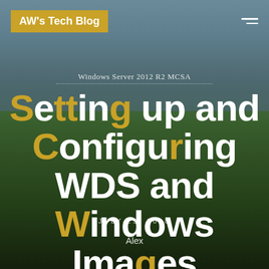AW's Tech Blog
Windows Server 2012 R2 MCSA
Setting up and Configuring WDS and Windows Images
JULY 25, 2018
Alex